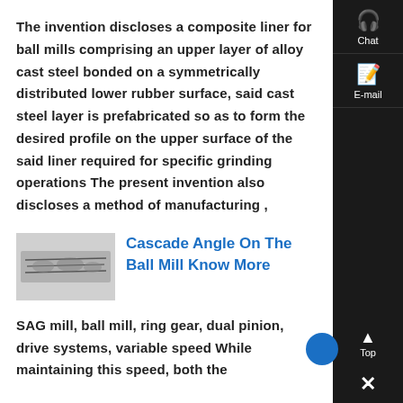The invention discloses a composite liner for ball mills comprising an upper layer of alloy cast steel bonded on a symmetrically distributed lower rubber surface, said cast steel layer is prefabricated so as to form the desired profile on the upper surface of the said liner required for specific grinding operations The present invention also discloses a method of manufacturing ,
[Figure (photo): Small thumbnail image of a ball mill liner component]
Cascade Angle On The Ball Mill Know More
SAG mill, ball mill, ring gear, dual pinion, drive systems, variable speed While maintaining this speed, both the